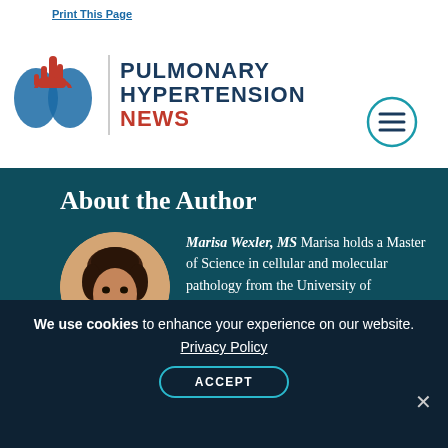Print This Page | PULMONARY HYPERTENSION NEWS
About the Author
[Figure (photo): Circular headshot photo of Marisa Wexler, MS]
Marisa Wexler, MS Marisa holds a Master of Science in cellular and molecular pathology from the University of Pittsburgh, where she studied novel genetic drivers of ovarian cancer. Her areas of expertise include cancer biology, immunology, and genetics, and she has worked as a science
We use cookies to enhance your experience on our website. Privacy Policy ACCEPT